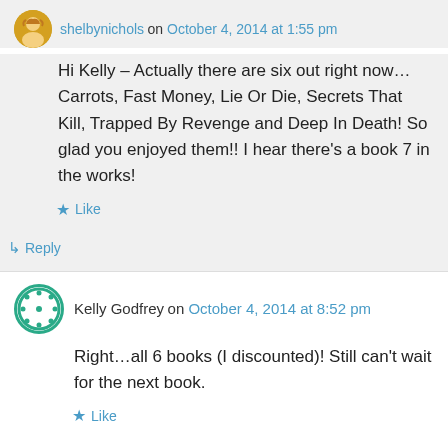shelbynichols on October 4, 2014 at 1:55 pm
Hi Kelly – Actually there are six out right now… Carrots, Fast Money, Lie Or Die, Secrets That Kill, Trapped By Revenge and Deep In Death! So glad you enjoyed them!! I hear there's a book 7 in the works!
Like
Reply
Kelly Godfrey on October 4, 2014 at 8:52 pm
Right…all 6 books (I discounted)! Still can't wait for the next book.
Like